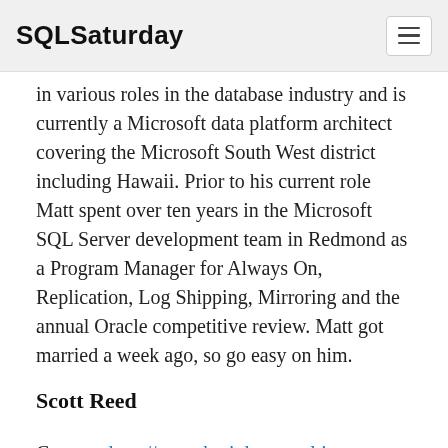SQLSaturday
in various roles in the database industry and is currently a Microsoft data platform architect covering the Microsoft South West district including Hawaii. Prior to his current role Matt spent over ten years in the Microsoft SQL Server development team in Redmond as a Program Manager for Always On, Replication, Log Shipping, Mirroring and the annual Oracle competitive review. Matt got married a week ago, so go easy on him.
Scott Reed
Contact: http://www.brainhzconsulting.com